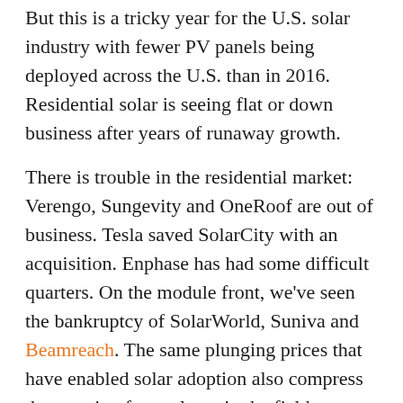But this is a tricky year for the U.S. solar industry with fewer PV panels being deployed across the U.S. than in 2016. Residential solar is seeing flat or down business after years of runaway growth.
There is trouble in the residential market: Verengo, Sungevity and OneRoof are out of business. Tesla saved SolarCity with an acquisition. Enphase has had some difficult quarters. On the module front, we've seen the bankruptcy of SolarWorld, Suniva and Beamreach. The same plunging prices that have enabled solar adoption also compress the margin of any player in the field.
"California is a big part of the issue. Not only is the state going to be transitioning to its second-generation of net metering and switching to time